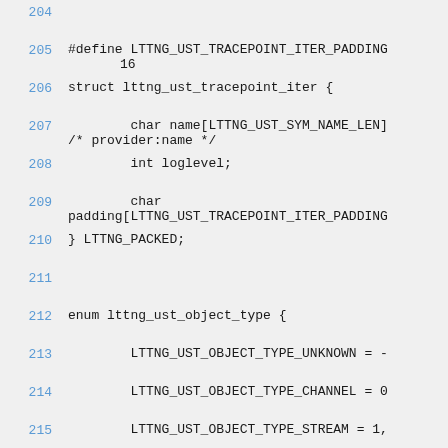204
205   #define LTTNG_UST_TRACEPOINT_ITER_PADDING
         16
206   struct lttng_ust_tracepoint_iter {
207           char name[LTTNG_UST_SYM_NAME_LEN]
         /* provider:name */
208           int loglevel;
209           char
         padding[LTTNG_UST_TRACEPOINT_ITER_PADDING
210   } LTTNG_PACKED;
211
212   enum lttng_ust_object_type {
213           LTTNG_UST_OBJECT_TYPE_UNKNOWN = -
214           LTTNG_UST_OBJECT_TYPE_CHANNEL = 0
215           LTTNG_UST_OBJECT_TYPE_STREAM = 1,
216           LTTNG_UST_OBJECT_TYPE_EVENT = 2,
217           LTTNG_UST_OBJECT_TYPE_CONTEXT